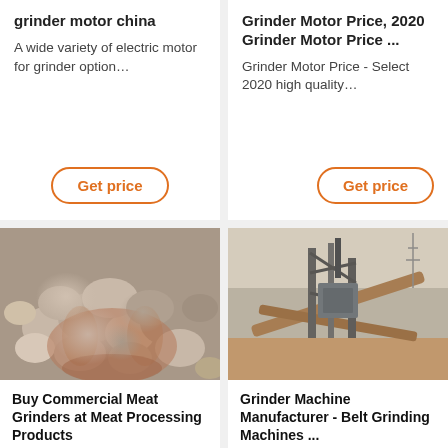grinder motor china
A wide variety of electric motor for grinder option…
Get price
Grinder Motor Price, 2020 Grinder Motor Price ...
Grinder Motor Price - Select 2020 high quality…
Get price
[Figure (photo): Hands holding small grey gravel/stone pieces against a background of more gravel]
Buy Commercial Meat Grinders at Meat Processing Products
[Figure (photo): Industrial grinder/crushing machine factory with conveyor belts and scaffolding structure in an outdoor dusty setting]
Grinder Machine Manufacturer - Belt Grinding Machines ...